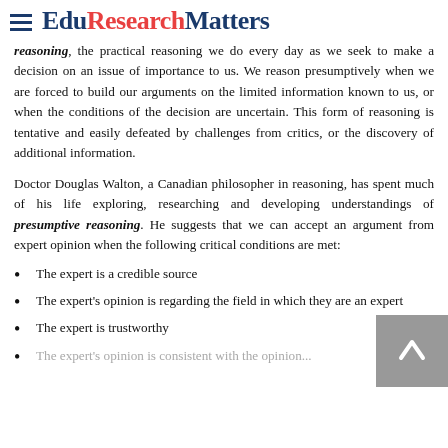EduResearchMatters
reasoning, the practical reasoning we do every day as we seek to make a decision on an issue of importance to us. We reason presumptively when we are forced to build our arguments on the limited information known to us, or when the conditions of the decision are uncertain. This form of reasoning is tentative and easily defeated by challenges from critics, or the discovery of additional information.
Doctor Douglas Walton, a Canadian philosopher in reasoning, has spent much of his life exploring, researching and developing understandings of presumptive reasoning. He suggests that we can accept an argument from expert opinion when the following critical conditions are met:
The expert is a credible source
The expert's opinion is regarding the field in which they are an expert
The expert is trustworthy
The expert's opinion is consistent with the opinion...